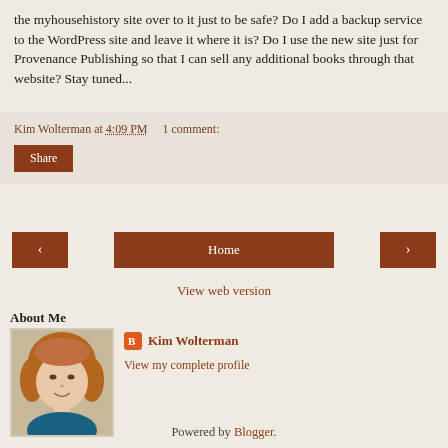the myhousehistory site over to it just to be safe? Do I add a backup service to the WordPress site and leave it where it is? Do I use the new site just for Provenance Publishing so that I can sell any additional books through that website? Stay tuned...
Kim Wolterman at 4:09 PM    1 comment:
Share
[Figure (other): Navigation row with left arrow button, Home button, and right arrow button]
View web version
About Me
[Figure (photo): Profile photo of Kim Wolterman, a woman with reddish-blonde hair]
Kim Wolterman
View my complete profile
Powered by Blogger.